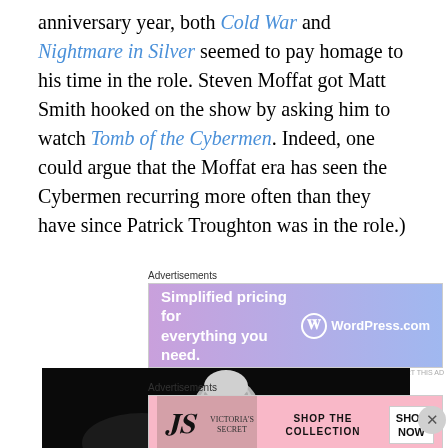anniversary year, both Cold War and Nightmare in Silver seemed to pay homage to his time in the role. Steven Moffat got Matt Smith hooked on the show by asking him to watch Tomb of the Cybermen. Indeed, one could argue that the Moffat era has seen the Cybermen recurring more often than they have since Patrick Troughton was in the role.)
[Figure (screenshot): WordPress.com advertisement banner: 'Simplified pricing for everything you need.' with WordPress.com logo on purple-blue gradient background]
[Figure (photo): Dark background image showing a silver Cyberman head/helmet]
[Figure (screenshot): Victoria's Secret advertisement: 'SHOP THE COLLECTION' with SHOP NOW button, featuring model with curly hair on pink background]